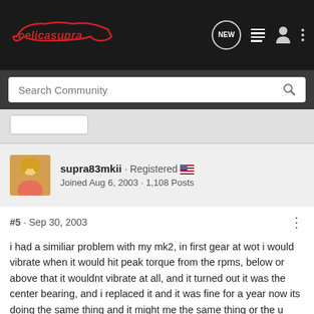celicasupra — navigation bar with logo and icons
Search Community
[Figure (screenshot): Button placeholder element]
supra83mkii · Registered
Joined Aug 6, 2003 · 1,108 Posts
#5 · Sep 30, 2003
i had a similiar problem with my mk2, in first gear at wot i would vibrate when it would hit peak torque from the rpms, below or above that it wouldnt vibrate at all, and it turned out it was the center bearing, and i replaced it and it was fine for a year now its doing the same thing and it might me the same thing or the u joints my driveshaft is kinda loose so i think its my u joints